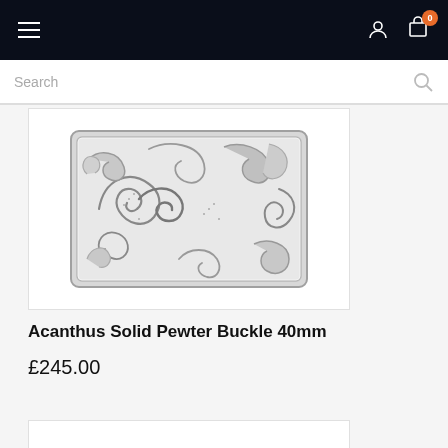Navigation bar with hamburger menu, user icon, and cart icon showing 0 items
Search
[Figure (photo): Acanthus Solid Pewter Buckle 40mm — a rectangular silver/pewter belt buckle with intricate engraved acanthus leaf scrollwork pattern, shown on white background]
Acanthus Solid Pewter Buckle 40mm
£245.00